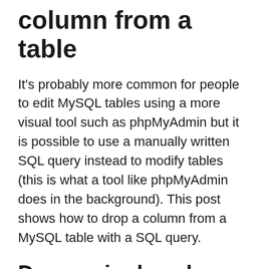column from a table
It's probably more common for people to edit MySQL tables using a more visual tool such as phpMyAdmin but it is possible to use a manually written SQL query instead to modify tables (this is what a tool like phpMyAdmin does in the background). This post shows how to drop a column from a MySQL table with a SQL query.
Drop a single column
The query to drop a single column is very simple. In the example table "test" there is